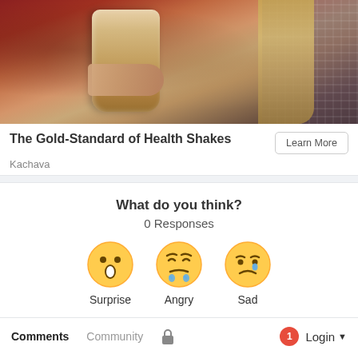[Figure (photo): Advertisement photo showing a person holding a gold/brown canister (health shake container), with long blonde hair and a plaid shirt visible, against a reddish background]
The Gold-Standard of Health Shakes
Kachava
What do you think?
0 Responses
[Figure (illustration): Three emoji reaction faces: Surprise (wide-eyed open mouth face), Angry (crying face), Sad (sad face with tear). Each labeled below with its name.]
Comments   Community   Login
Comments  Community  Login